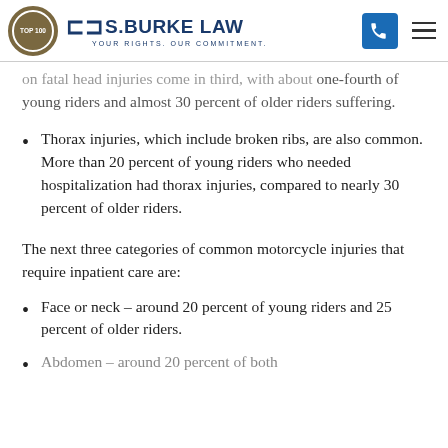S. Burke Law — Your Rights. Our Commitment.
on fatal head injuries come in third, with about one-fourth of young riders and almost 30 percent of older riders suffering.
Thorax injuries, which include broken ribs, are also common. More than 20 percent of young riders who needed hospitalization had thorax injuries, compared to nearly 30 percent of older riders.
The next three categories of common motorcycle injuries that require inpatient care are:
Face or neck – around 20 percent of young riders and 25 percent of older riders.
Abdomen – around 20 percent of both...